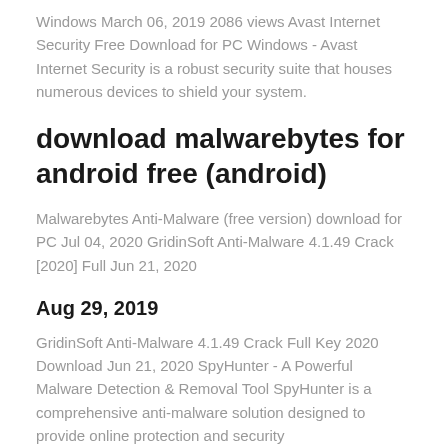Windows March 06, 2019 2086 views Avast Internet Security Free Download for PC Windows - Avast Internet Security is a robust security suite that houses numerous devices to shield your system.
download malwarebytes for android free (android)
Malwarebytes Anti-Malware (free version) download for PC Jul 04, 2020 GridinSoft Anti-Malware 4.1.49 Crack [2020] Full Jun 21, 2020
Aug 29, 2019
GridinSoft Anti-Malware 4.1.49 Crack Full Key 2020 Download Jun 21, 2020 SpyHunter - A Powerful Malware Detection & Removal Tool SpyHunter is a comprehensive anti-malware solution designed to provide online protection and security